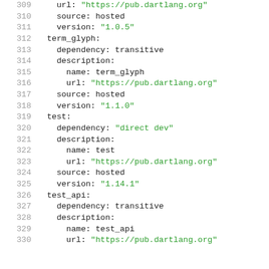Code listing lines 309-330 of a pubspec.lock or similar YAML dependency file showing dart package configurations including term_glyph, test, and test_api packages